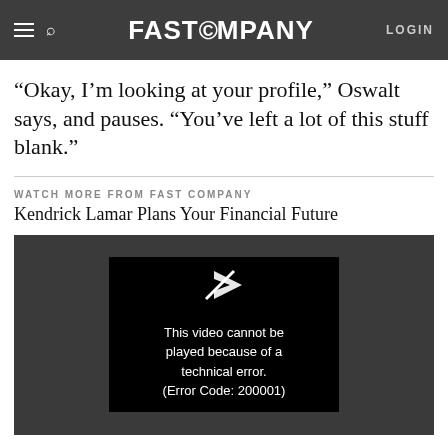FAST COMPANY | LOGIN
“Okay, I’m looking at your profile,” Oswalt says, and pauses. “You’ve left a lot of this stuff blank.”
WATCH MORE FROM FAST COMPANY
Kendrick Lamar Plans Your Financial Future
[Figure (screenshot): Video player showing error message: This video cannot be played because of a technical error. (Error Code: 200001)]